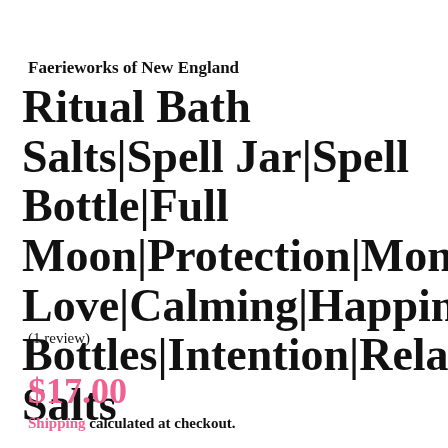Faerieworks of New England
Ritual Bath Salts|Spell Jar|Spell Bottle|Full Moon|Protection|Money|Self Love|Calming|Happiness|Spe... Bottles|Intention|Relaxing|Ba... Salts
(1 review)
$17.00
Shipping calculated at checkout.